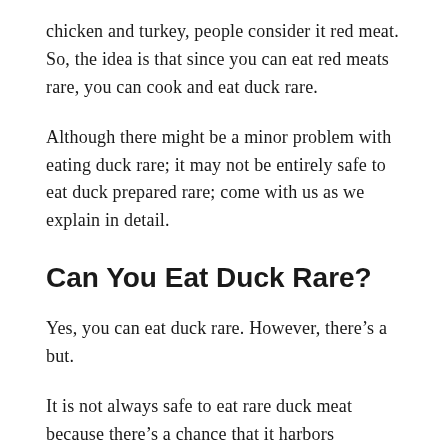chicken and turkey, people consider it red meat. So, the idea is that since you can eat red meats rare, you can cook and eat duck rare.
Although there might be a minor problem with eating duck rare; it may not be entirely safe to eat duck prepared rare; come with us as we explain in detail.
Can You Eat Duck Rare?
Yes, you can eat duck rare. However, there’s a but.
It is not always safe to eat rare duck meat because there’s a chance that it harbors